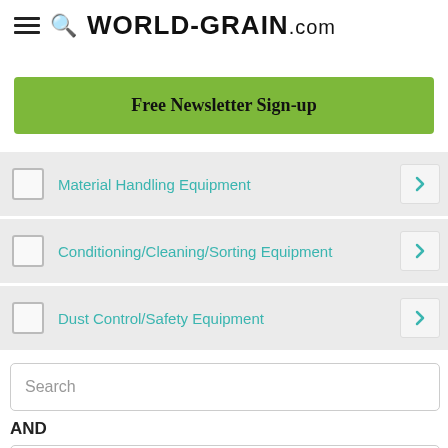WORLD-GRAIN.com
Free Newsletter Sign-up
Material Handling Equipment
Conditioning/Cleaning/Sorting Equipment
Dust Control/Safety Equipment
Search
AND
City